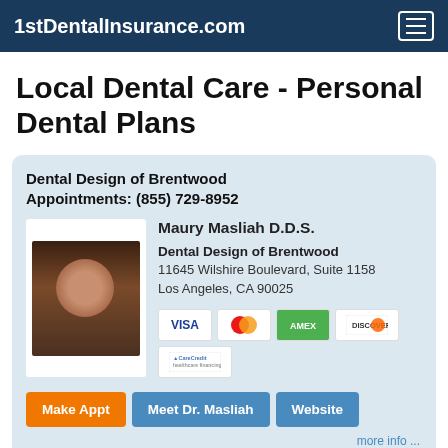1stDentalInsurance.com
Local Dental Care - Personal Dental Plans
Dental Design of Brentwood
Appointments: (855) 729-8952
[Figure (photo): Headshot photo of Dr. Maury Masliah, a man smiling in dark clothing]
Maury Masliah D.D.S.
Dental Design of Brentwood
11645 Wilshire Boulevard, Suite 1158
Los Angeles, CA 90025
[Figure (other): Payment method icons: Visa, MasterCard, American Express, Discover, CareCredit]
Make Appt  Meet Dr. Masliah  Website
more info ...